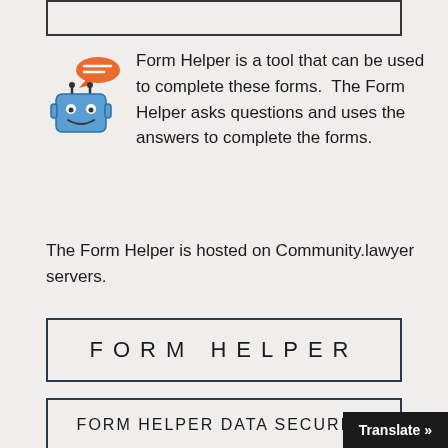[Figure (other): Partial view of a button/link at the top of the page, partially cropped]
[Figure (illustration): Robot chatbot icon with speech bubble: blue square robot with antennae, smiling face, and an orange speech bubble above]
Form Helper is a tool that can be used to complete these forms.  The Form Helper asks questions and uses the answers to complete the forms.
The Form Helper is hosted on Community.lawyer servers.
FORM HELPER
FORM HELPER DATA SECURITY
Translate »